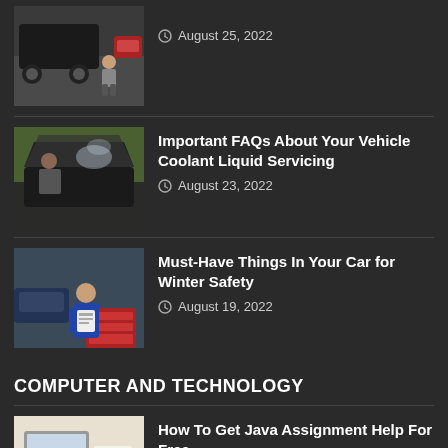[Figure (photo): Person sitting by a broken-down car on the road]
August 25, 2022
[Figure (photo): Person looking under the hood of a car]
Important FAQs About Your Vehicle Coolant Liquid Servicing
August 23, 2022
[Figure (photo): Mechanic in blue uniform working in auto shop]
Must-Have Things In Your Car for Winter Safety
August 19, 2022
COMPUTER AND TECHNOLOGY
[Figure (photo): Laptop and papers on a desk, person working]
How To Get Java Assignment Help For Free